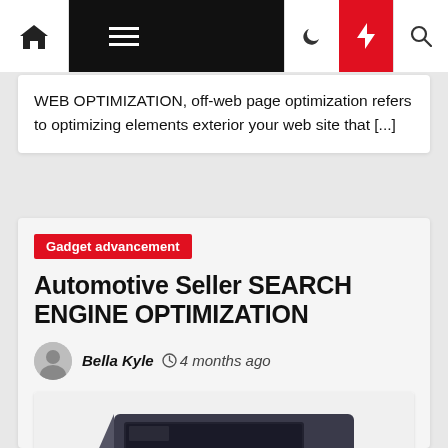Navigation bar with home, menu, moon, bolt, search icons
WEB OPTIMIZATION, off-web page optimization refers to optimizing elements exterior your web site that [...]
Gadget advancement
Automotive Seller SEARCH ENGINE OPTIMIZATION
Bella Kyle  4 months ago
[Figure (photo): Photo of a car navigation or infotainment device]